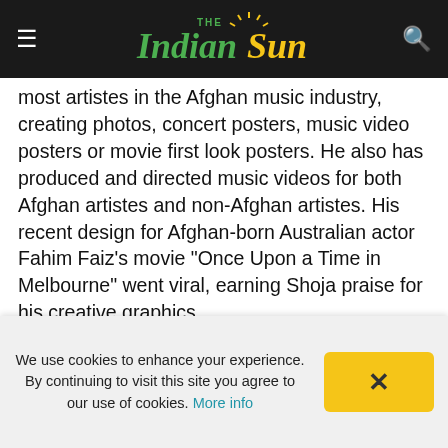[Figure (logo): The Indian Sun newspaper logo on dark background with hamburger menu icon on left and search icon on right]
most artistes in the Afghan music industry, creating photos, concert posters, music video posters or movie first look posters. He also has produced and directed music videos for both Afghan artistes and non-Afghan artistes. His recent design for Afghan-born Australian actor Fahim Faiz's movie "Once Upon a Time in Melbourne" went viral, earning Shoja praise for his creative graphics.
But more than fame and name, Shoja says he works primarily with Afghan artistes because he wants to shatter myths surrounding the country and its art. "The world sees Afghanistan as a poor country and maybe a country with no talent. Growing
We use cookies to enhance your experience. By continuing to visit this site you agree to our use of cookies. More info